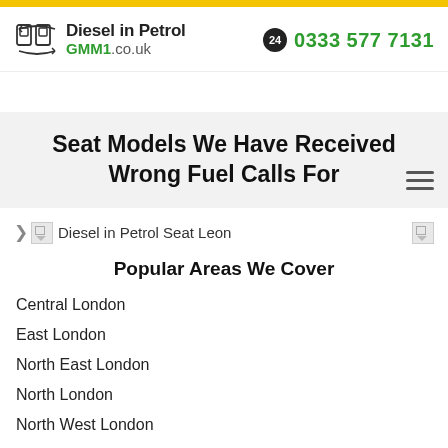Diesel in Petrol GMM1.co.uk | 0333 577 7131
Seat Models We Have Received Wrong Fuel Calls For
Diesel in Petrol Seat Leon
Popular Areas We Cover
Central London
East London
North East London
North London
North West London
South East London